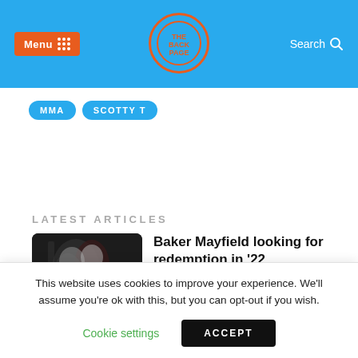Menu | [Logo] | Search
MMA
SCOTTY T
LATEST ARTICLES
[Figure (photo): Football game action photo showing players in dark and red uniforms]
Baker Mayfield looking for redemption in '22
CAROLINA PANTHERS   31ST JULY 2022
This website uses cookies to improve your experience. We'll assume you're ok with this, but you can opt-out if you wish.
Cookie settings   ACCEPT